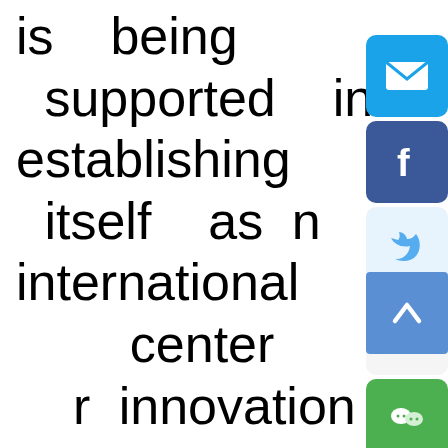is being supported in establishing itself as an international center for innovation and technology, a center in the Asia-Pacific region for international legal and dispute resolution services, a regional center for intellectual property
[Figure (other): Social media sharing icons (email, Facebook, Twitter, Weibo, WeChat) and a scroll-to-top button overlaid on the right side of the page]